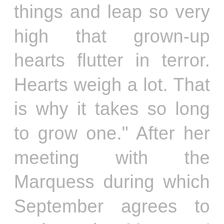things and leap so very high that grown-up hearts flutter in terror. Hearts weigh a lot. That is why it takes so long to grow one." After her meeting with the Marquess during which September agrees to retrieve the Marquess' mother's sword in exchange for Goodbye's spoon, even though she knows this is a bad deal, she finds A-Through-L is not where she left him and thinks to herself, "Of course he hadn't waited.He had known she was weak, that she would give in as soon as the Marquess behaved kindly toward her. He had known her fora rotten, cowardly child. She cursed herself.